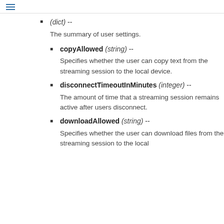☰
(dict) --
The summary of user settings.
copyAllowed (string) --
Specifies whether the user can copy text from the streaming session to the local device.
disconnectTimeoutInMinutes (integer) --
The amount of time that a streaming session remains active after users disconnect.
downloadAllowed (string) --
Specifies whether the user can download files from the streaming session to the local